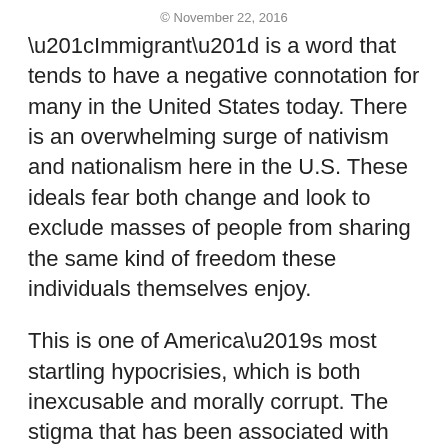© November 22, 2016
“Immigrant” is a word that tends to have a negative connotation for many in the United States today. There is an overwhelming surge of nativism and nationalism here in the U.S. These ideals fear both change and look to exclude masses of people from sharing the same kind of freedom these individuals themselves enjoy.
This is one of America’s most startling hypocrisies, which is both inexcusable and morally corrupt. The stigma that has been associated with the word “immigrant” dates back hundreds of years. There was a surge in nationalism in the late 19th century when Europeans flocked to New York City in hopes of a better life, fleeing from drought and